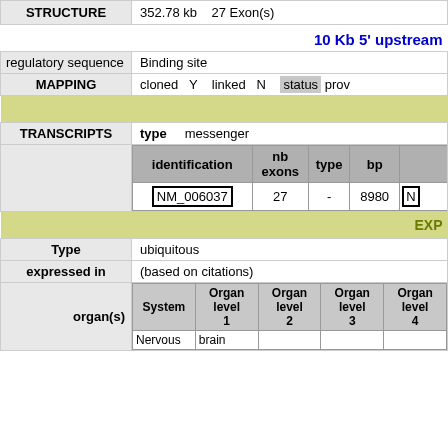| Field | Value |
| --- | --- |
| STRUCTURE | 352.78 kb    27 Exon(s) |
|  | 10 Kb 5' upstream |
| regulatory sequence | Binding site |
| MAPPING | cloned  Y  linked  N  status  prov... |
| TRANSCRIPTS | type    messenger |
| identification / nb exons / type / bp | NM_006037 / 27 / - / 8980 / NM... |
|  | EXP... |
| Type | ubiquitous |
| expressed in | (based on citations) |
| organ(s) | System / Organ level 1 / Organ level 2 / Organ level 3 / Organ level 4 | Nervous / brain |